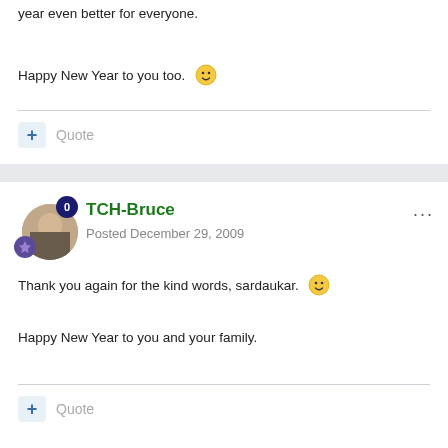year even better for everyone.
Happy New Year to you too. 🙂
+ Quote
TCH-Bruce
Posted December 29, 2009
Thank you again for the kind words, sardaukar. 🙂
Happy New Year to you and your family.
+ Quote